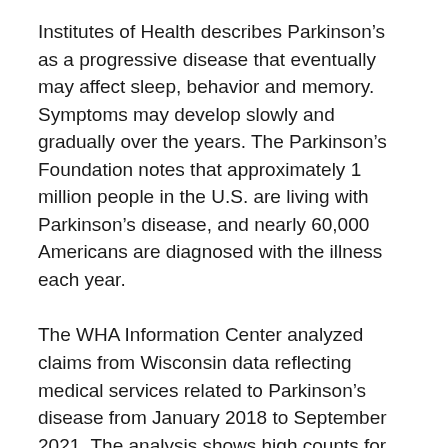Institutes of Health describes Parkinson's as a progressive disease that eventually may affect sleep, behavior and memory. Symptoms may develop slowly and gradually over the years. The Parkinson's Foundation notes that approximately 1 million people in the U.S. are living with Parkinson's disease, and nearly 60,000 Americans are diagnosed with the illness each year.
The WHA Information Center analyzed claims from Wisconsin data reflecting medical services related to Parkinson's disease from January 2018 to September 2021. The analysis shows high counts for treatments in the Milwaukee and Fox Valley areas during the period reviewed. The visit counts have slowly increased over the past three years, except for the months when the COVID-19 stay at home order was in place. Males accounted for 60% of all visits, which follows the national trend of men being more likely to